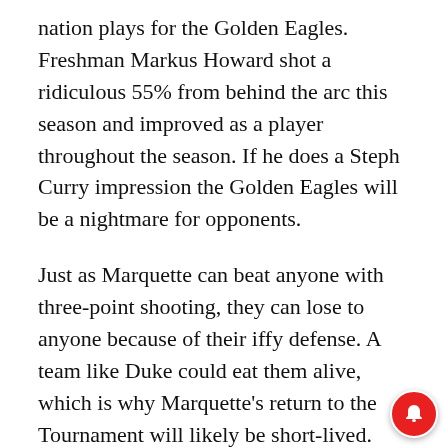nation plays for the Golden Eagles. Freshman Markus Howard shot a ridiculous 55% from behind the arc this season and improved as a player throughout the season. If he does a Steph Curry impression the Golden Eagles will be a nightmare for opponents.
Just as Marquette can beat anyone with three-point shooting, they can lose to anyone because of their iffy defense. A team like Duke could eat them alive, which is why Marquette's return to the Tournament will likely be short-lived. Speaking of Duke, think a second
[Figure (other): Advertisement banner for BitLife game: 'BitLife - Now with GOD MODE' on a light blue background with a hand/finger pointing graphic]